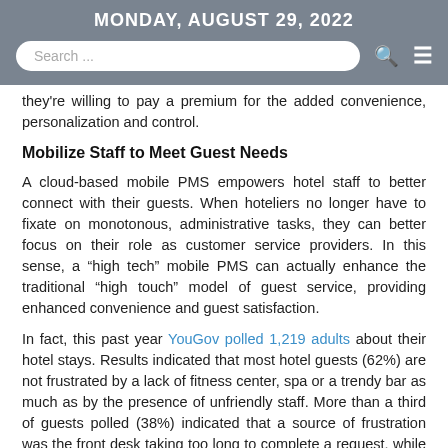MONDAY, AUGUST 29, 2022
they're willing to pay a premium for the added convenience, personalization and control.
Mobilize Staff to Meet Guest Needs
A cloud-based mobile PMS empowers hotel staff to better connect with their guests. When hoteliers no longer have to fixate on monotonous, administrative tasks, they can better focus on their role as customer service providers. In this sense, a “high tech” mobile PMS can actually enhance the traditional “high touch” model of guest service, providing enhanced convenience and guest satisfaction.
In fact, this past year YouGov polled 1,219 adults about their hotel stays. Results indicated that most hotel guests (62%) are not frustrated by a lack of fitness center, spa or a trendy bar as much as by the presence of unfriendly staff. More than a third of guests polled (38%) indicated that a source of frustration was the front desk taking too long to complete a request, while close to a third (31%)...